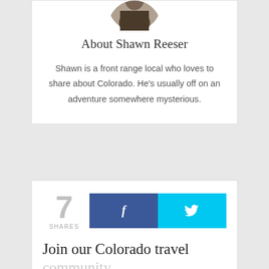[Figure (photo): Circular avatar photo of Shawn Reeser, partially cropped at top]
About Shawn Reeser
Shawn is a front range local who loves to share about Colorado. He's usually off on an adventure somewhere mysterious.
[Figure (infographic): 7 SHARES counter with Facebook (f) and Twitter (bird icon) share buttons]
Join our Colorado travel community
Enter your email below and grab our free